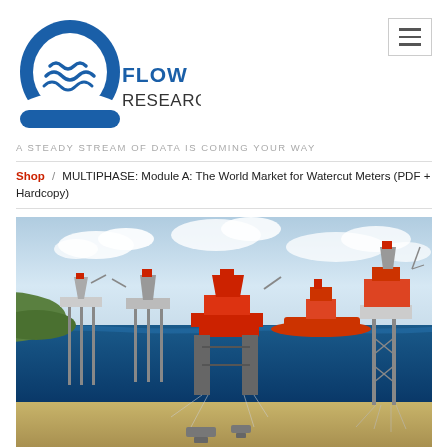[Figure (logo): Flow Research logo — blue Q shape with stylized water waves, text FLOW RESEARCH beside it]
A STEADY STREAM OF DATA IS COMING YOUR WAY
Shop / MULTIPHASE: Module A: The World Market for Watercut Meters (PDF + Hardcopy)
[Figure (illustration): Offshore oil platform illustration showing multiple oil rigs and platforms at sea surface with underwater substructure, pipelines, and subsea equipment on the seabed]